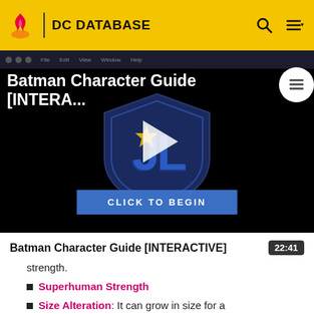DC DATABASE
[Figure (screenshot): Batman Character Guide [INTERA...] video thumbnail with play button, Justice League shield logo, and CLICK TO BEGIN button on dark background]
Batman Character Guide [INTERACTIVE]  22:41
strength.
Superhuman Strength
Size Alteration: It can grow in size for a